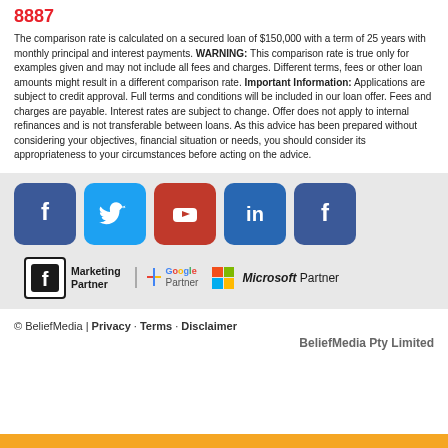8887
The comparison rate is calculated on a secured loan of $150,000 with a term of 25 years with monthly principal and interest payments. WARNING: This comparison rate is true only for examples given and may not include all fees and charges. Different terms, fees or other loan amounts might result in a different comparison rate. Important Information: Applications are subject to credit approval. Full terms and conditions will be included in our loan offer. Fees and charges are payable. Interest rates are subject to change. Offer does not apply to internal refinances and is not transferable between loans. As this advice has been prepared without considering your objectives, financial situation or needs, you should consider its appropriateness to your circumstances before acting on the advice.
[Figure (logo): Social media icons row: Facebook (dark blue), Twitter (light blue), YouTube (red), LinkedIn (blue), Facebook (dark blue)]
[Figure (logo): Partner logos: Facebook Marketing Partner, Google Partner, Microsoft Partner]
© BeliefMedia | Privacy · Terms · Disclaimer
BeliefMedia Pty Limited